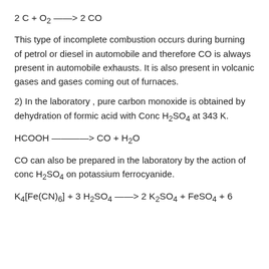This type of incomplete combustion occurs during burning of petrol or diesel in automobile and therefore CO is always present in automobile exhausts. It is also present in volcanic gases and gases coming out of furnaces.
2) In the laboratory , pure carbon monoxide is obtained by dehydration of formic acid with Conc H₂SO₄ at 343 K.
CO can also be prepared in the laboratory by the action of conc H₂SO₄ on potassium ferrocyanide.